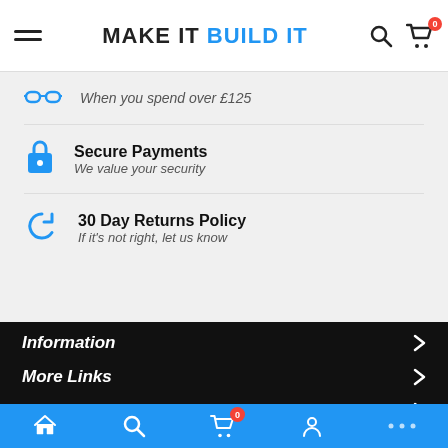MAKE IT BUILD IT
When you spend over £125
Secure Payments
We value your security
30 Day Returns Policy
If it's not right, let us know
Information
More Links
Contact Us
Subscribe Us
Bottom navigation bar with home, search, cart (0), account, more icons